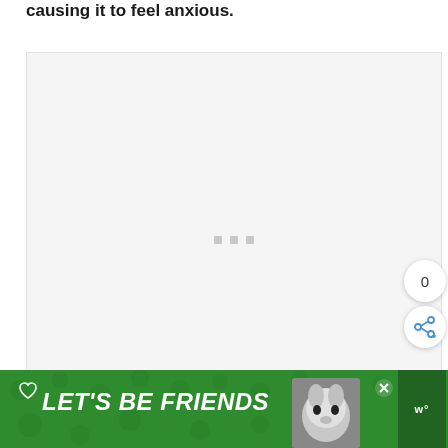causing it to feel anxious.
[Figure (photo): Large image placeholder area with loading dots indicator, light gray background]
[Figure (infographic): Share widget showing count '0' and a share/network icon button, circular white buttons on right side]
[Figure (infographic): Advertisement banner: green background with 'LET'S BE FRIENDS' text in white italic bold, heart icon, husky dog photo, X close button, brand logo on right]